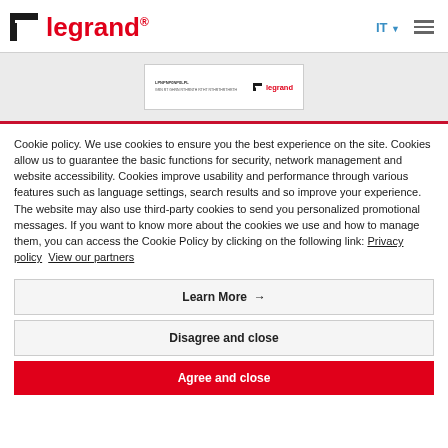Legrand — IT navigation header
[Figure (screenshot): Legrand branded document preview card showing small text and Legrand logo]
Cookie policy. We use cookies to ensure you the best experience on the site. Cookies allow us to guarantee the basic functions for security, network management and website accessibility. Cookies improve usability and performance through various features such as language settings, search results and so improve your experience. The website may also use third-party cookies to send you personalized promotional messages. If you want to know more about the cookies we use and how to manage them, you can access the Cookie Policy by clicking on the following link: Privacy policy   View our partners
Learn More →
Disagree and close
Agree and close